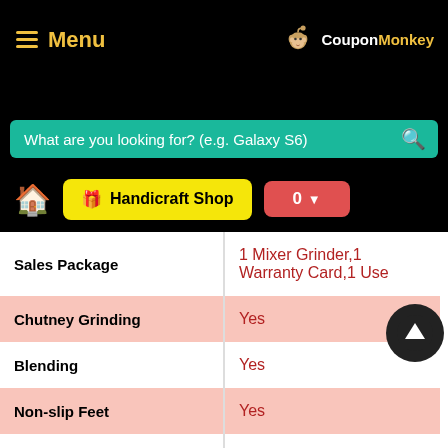Menu | CouponMonkey
What are you looking for? (e.g. Galaxy S6)
🏠 🎁 Handicraft Shop | 0
| Feature | Value |
| --- | --- |
| Sales Package | 1 Mixer Grinder,1 Warranty Card,1 Use |
| Chutney Grinding | Yes |
| Blending | Yes |
| Non-slip Feet | Yes |
| Auto Switch Off | Yes |
| Weight | ... |